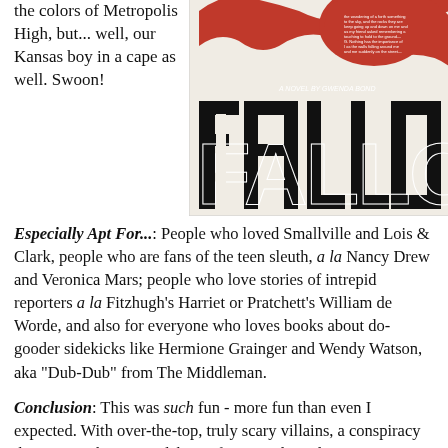the colors of Metropolis High, but... well, our Kansas boy in a cape as well. Swoon!
[Figure (illustration): Book cover of 'Fallout' - a novel by Gwenda Bond. Dark graphic design with large bold black letters spelling FALLOUT, red silhouette of a woman's head/hair at the top, dramatic noir style.]
Especially Apt For...: People who loved Smallville and Lois & Clark, people who are fans of the teen sleuth, a la Nancy Drew and Veronica Mars; people who love stories of intrepid reporters a la Fitzhugh's Harriet or Pratchett's William de Worde, and also for everyone who loves books about do-gooder sidekicks like Hermione Grainger and Wendy Watson, aka "Dub-Dub" from The Middleman.
Conclusion: This was such fun - more fun than even I expected. With over-the-top, truly scary villains, a conspiracy theory site, this series debut is fast-paced, tautly